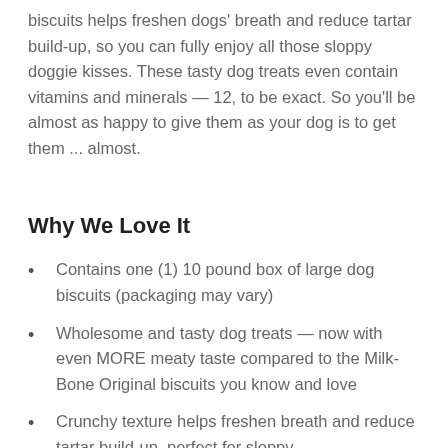biscuits helps freshen dogs' breath and reduce tartar build-up, so you can fully enjoy all those sloppy doggie kisses. These tasty dog treats even contain vitamins and minerals — 12, to be exact. So you'll be almost as happy to give them as your dog is to get them ... almost.
Why We Love It
Contains one (1) 10 pound box of large dog biscuits (packaging may vary)
Wholesome and tasty dog treats — now with even MORE meaty taste compared to the Milk-Bone Original biscuits you know and love
Crunchy texture helps freshen breath and reduce tartar build-up, perfect for sloppy